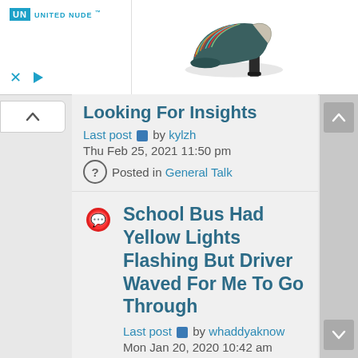[Figure (photo): Advertisement banner for United Nude shoes showing a multicolored striped high-heel boot/shoe on white background with UN United Nude logo on the left side]
Looking For Insights
Last post by kylzh
Thu Feb 25, 2021 11:50 pm
Posted in General Talk
School Bus Had Yellow Lights Flashing But Driver Waved For Me To Go Through
Last post by whaddyaknow
Mon Jan 20, 2020 10:42 am
Posted in Failing to stop for a school bus
Replies: 4